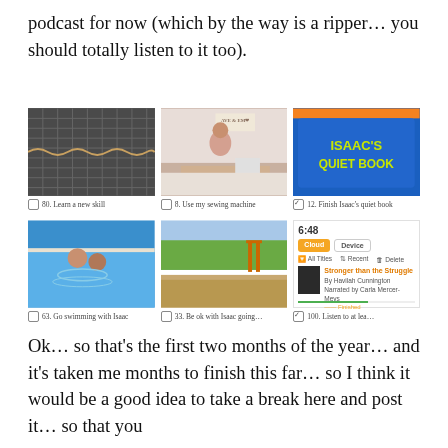podcast for now (which by the way is a ripper… you should totally listen to it too).
[Figure (photo): Grid of 6 photos showing: close-up of a zipper/mesh material, woman at a sewing machine, blue bag labeled 'ISAAC'S QUIET BOOK', children swimming in a pool, outdoor park/playground scene, and an Audible app screenshot showing 'Stronger than the Struggle' by Havilah Cunnington. Each photo has a task caption below it.]
80. Learn a new skill
8. Use my sewing machine
12. Finish Isaac's quiet book
63. Go swimming with Isaac
33. Be ok with Isaac going…
100. Listen to at lea…
Ok… so that's the first two months of the year… and it's taken me months to finish this far… so I think it would be a good idea to take a break here and post it… so that you